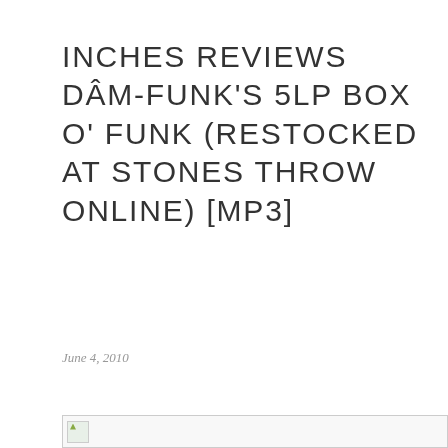INCHES REVIEWS DÂM-FUNK'S 5LP BOX O' FUNK (RESTOCKED AT STONES THROW ONLINE) [MP3]
June 4, 2010
[Figure (photo): Broken/missing image placeholder with small icon, spanning most of the page width]